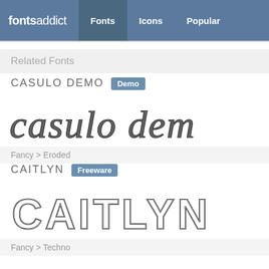fontsaddict — Fonts | Icons | Popular
Related Fonts
CASULO DEMO [Demo]
[Figure (illustration): Casulo Demo font preview showing 'casulo dem' in an ornate, eroded/dotted blackletter-style italic font]
Fancy > Eroded
CAITLYN [Freeware]
[Figure (illustration): Caitlyn font preview showing 'CAITLYN' in a large techno/outline style font with double-stroke letters]
Fancy > Techno